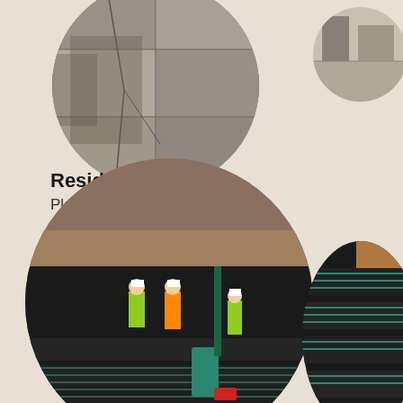[Figure (photo): Circular photo showing cracked concrete foundation wall with water damage and staining]
[Figure (photo): Small circular photo in top right showing warehouse or storage interior]
Residential House
Place : Bethlehem, PA
Service : Structral Analysis & Repair
Market Type :  Residential
[Figure (photo): Large circular photo showing construction workers standing in a trench with black corrugated drainage pipes and geotextile fabric, teal drainage barrel visible]
[Figure (photo): Partial circular photo on right showing corrugated plastic drainage pipes]